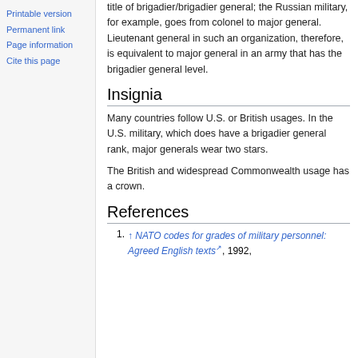Printable version
Permanent link
Page information
Cite this page
title of brigadier/brigadier general; the Russian military, for example, goes from colonel to major general. Lieutenant general in such an organization, therefore, is equivalent to major general in an army that has the brigadier general level.
Insignia
Many countries follow U.S. or British usages. In the U.S. military, which does have a brigadier general rank, major generals wear two stars.
The British and widespread Commonwealth usage has a crown.
References
↑ NATO codes for grades of military personnel: Agreed English texts, 1992,